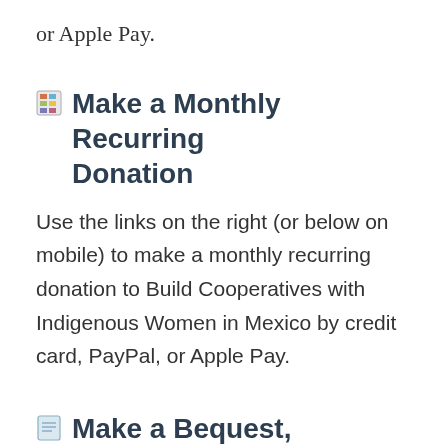or Apple Pay.
Make a Monthly Recurring Donation
Use the links on the right (or below on mobile) to make a monthly recurring donation to Build Cooperatives with Indigenous Women in Mexico by credit card, PayPal, or Apple Pay.
Make a Bequest, Donation in Your Will, and Estate Planning